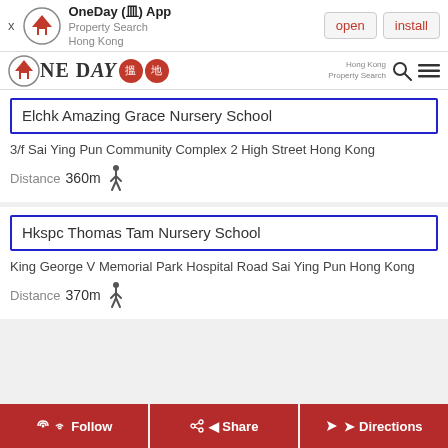[Figure (screenshot): App install banner for OneDay (皿) App - Property Search Hong Kong, with open and install buttons]
[Figure (logo): OneDay property search logo with Chinese characters 搵地]
Elchk Amazing Grace Nursery School
3/f Sai Ying Pun Community Complex 2 High Street Hong Kong
Distance 360m
Hkspc Thomas Tam Nursery School
King George V Memorial Park Hospital Road Sai Ying Pun Hong Kong
Distance 370m
Follow
Share
Directions